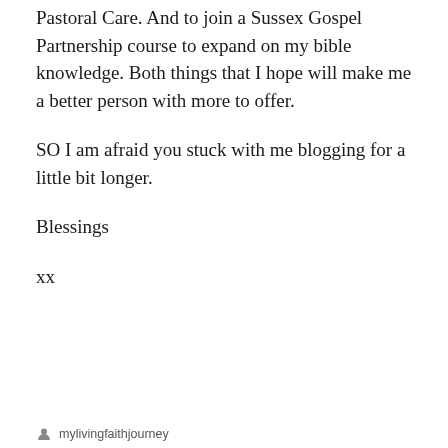Pastoral Care. And to join a Sussex Gospel Partnership course to expand on my bible knowledge. Both things that I hope will make me a better person with more to offer.
SO I am afraid you stuck with me blogging for a little bit longer.
Blessings
xx
mylivingfaithjourney